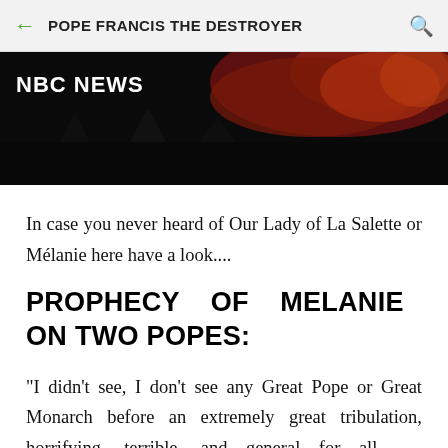POPE FRANCIS THE DESTROYER
[Figure (photo): NBC News banner image with dark red/fire background and NBC NEWS text in white bold font]
In case you never heard of Our Lady of La Salette or Mélanie here have a look....
PROPHECY OF MELANIE ON TWO POPES:
"I didn't see, I don't see any Great Pope or Great Monarch before an extremely great tribulation, horrifying, terrible, and general for all